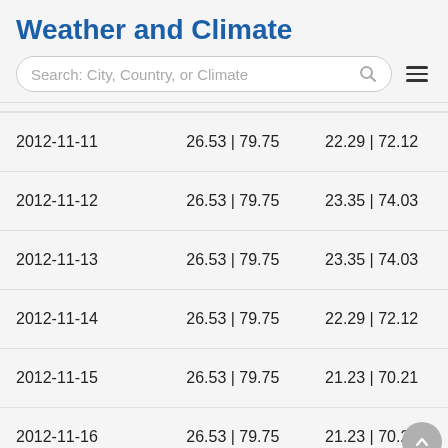Weather and Climate
| Date | Col2 | Col3 |
| --- | --- | --- |
| 2012-11-11 | 26.53 | 79.75 | 22.29 | 72.12 |
| 2012-11-12 | 26.53 | 79.75 | 23.35 | 74.03 |
| 2012-11-13 | 26.53 | 79.75 | 23.35 | 74.03 |
| 2012-11-14 | 26.53 | 79.75 | 22.29 | 72.12 |
| 2012-11-15 | 26.53 | 79.75 | 21.23 | 70.21 |
| 2012-11-16 | 26.53 | 79.75 | 21.23 | 70.21 |
| 2012-11-17 | 26.53 | 79.75 | 22.29 | 72.12 |